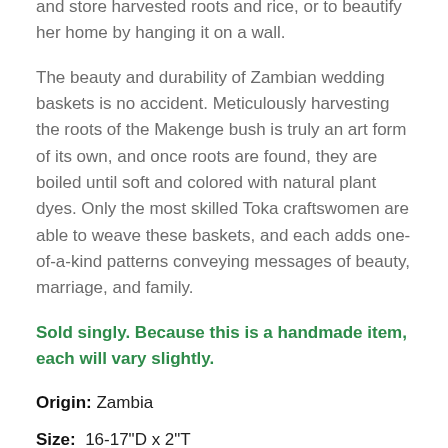...used to use it practically—to winnow grain and to collect and store harvested roots and rice, or to beautify her home by hanging it on a wall.
The beauty and durability of Zambian wedding baskets is no accident. Meticulously harvesting the roots of the Makenge bush is truly an art form of its own, and once roots are found, they are boiled until soft and colored with natural plant dyes. Only the most skilled Toka craftswomen are able to weave these baskets, and each adds one-of-a-kind patterns conveying messages of beauty, marriage, and family.
Sold singly. Because this is a handmade item, each will vary slightly.
Origin: Zambia
Size: 16-17"D x 2"T